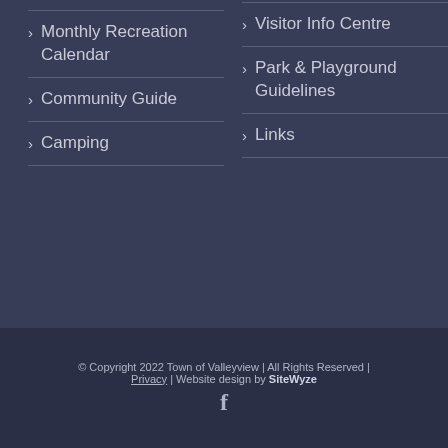Monthly Recreation Calendar
Community Guide
Camping
Visitor Info Centre
Park & Playground Guidelines
Links
© Copyright 2022 Town of Valleyview | All Rights Reserved | Privacy | Website design by SiteWyze